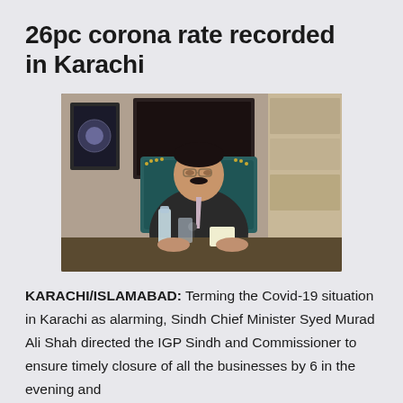26pc corona rate recorded in Karachi
[Figure (photo): Sindh Chief Minister Syed Murad Ali Shah seated at a conference table with a microphone, water bottle and glass in front of him, wearing a dark suit and tie, with framed artwork and a teal chair visible in the background.]
KARACHI/ISLAMABAD: Terming the Covid-19 situation in Karachi as alarming, Sindh Chief Minister Syed Murad Ali Shah directed the IGP Sindh and Commissioner to ensure timely closure of all the businesses by 6 in the evening and